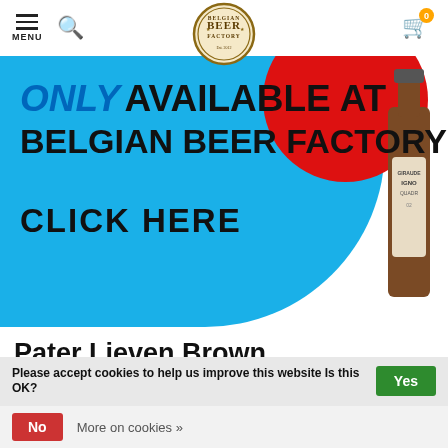MENU | Search | Belgian Beer Factory logo | Cart (0)
[Figure (illustration): Belgian Beer Factory promotional banner: blue curved background with text 'ONLY AVAILABLE AT BELGIAN BEER FACTORY – CLICK HERE', red circle, and beer bottle on right side]
Pater Lieven Brown
Pater Lieven Brown Beer
Brewery : Van Den Bossche Brewery
Volume : 33cl
Alcohol Content (ABV) : 6.5%
Fermentation : Top fermentation and referments in the
Please accept cookies to help us improve this website Is this OK?   Yes
No   More on cookies »